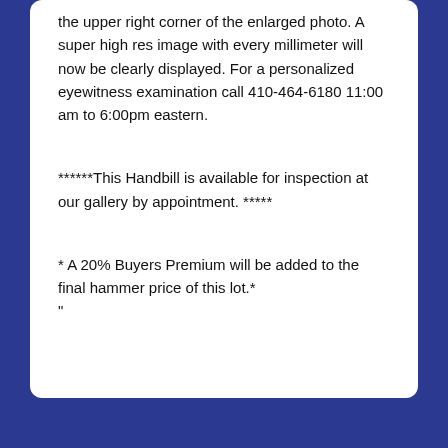the upper right corner of the enlarged photo. A super high res image with every millimeter will now be clearly displayed. For a personalized eyewitness examination call 410-464-6180 11:00 am to 6:00pm eastern.
******This Handbill is available for inspection at our gallery by appointment. *****
* A 20% Buyers Premium will be added to the final hammer price of this lot.*
"